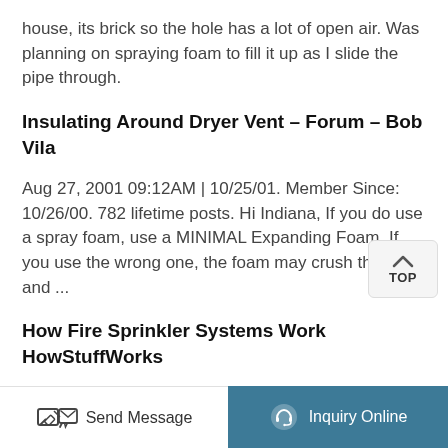house, its brick so the hole has a lot of open air. Was planning on spraying foam to fill it up as I slide the pipe through.
Insulating Around Dryer Vent – Forum – Bob Vila
Aug 27, 2001 09:12AM | 10/25/01. Member Since: 10/26/00. 782 lifetime posts. Hi Indiana, If you do use a spray foam, use a MINIMAL Expanding Foam. If you use the wrong one, the foam may crush the vent and ...
How Fire Sprinkler Systems Work HowStuffWorks
Aug 31, 2010 Dry pipe systems have a slower reaction time (up to a minute delay). To make up
Send Message | Inquiry Online